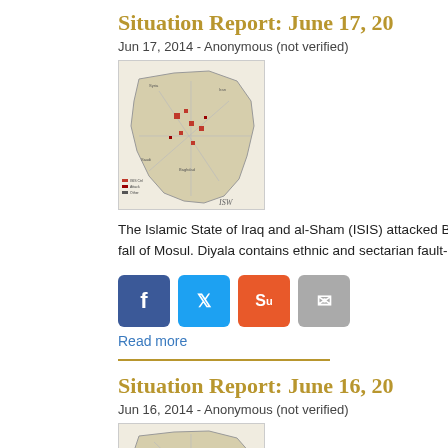Situation Report: June 17, 20...
Jun 17, 2014 - Anonymous (not verified)
[Figure (map): ISW map of Iraq showing ISIS attack locations and territorial control, June 17, 2014]
The Islamic State of Iraq and al-Sham (ISIS) attacked Ba... fall of Mosul. Diyala contains ethnic and sectarian fault-line...
Read more
Situation Report: June 16, 20...
Jun 16, 2014 - Anonymous (not verified)
[Figure (map): ISW map of Iraq showing ISIS territorial control, June 16, 2014]